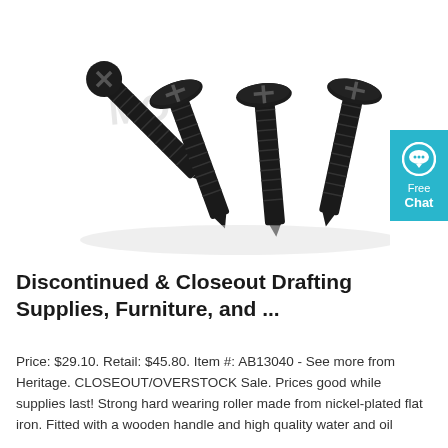[Figure (photo): Four black Phillips head wood screws arranged in a fan/pile formation on a white background, with a faint watermark text 'MO...' visible. The screws are dark/black colored with Phillips cross-drive heads.]
[Figure (other): Blue chat widget button on the right side showing a speech bubble icon and the text 'Free Chat']
Discontinued & Closeout Drafting Supplies, Furniture, and ...
Price: $29.10. Retail: $45.80. Item #: AB13040 - See more from Heritage. CLOSEOUT/OVERSTOCK Sale. Prices good while supplies last! Strong hard wearing roller made from nickel-plated flat iron. Fitted with a wooden handle and high quality water and oil